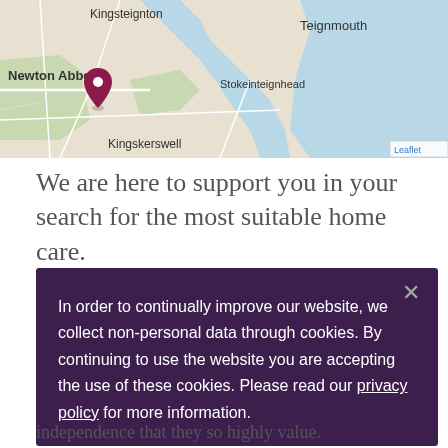[Figure (map): Street map showing Newton Abbot area with a location pin, featuring Kingsteignton, Teignmouth, Stokeinteignhead, Kingskerswell labels and water/land areas]
We are here to support you in your search for the most suitable home care.
In order to continually improve our website, we collect non-personal data through cookies. By continuing to use the website you are accepting the use of these cookies. Please read our privacy policy for more information.
independence that they so highly value.